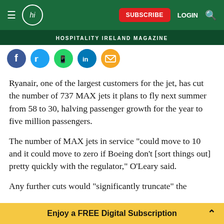hi SUBSCRIBE LOGIN
HOSPITALITY IRELAND MAGAZINE
[Figure (other): Social media share icons: Facebook, Twitter, WhatsApp, LinkedIn, Email]
Ryanair, one of the largest customers for the jet, has cut the number of 737 MAX jets it plans to fly next summer from 58 to 30, halving passenger growth for the year to five million passengers.
The number of MAX jets in service "could move to 10 and it could move to zero if Boeing don't [sort things out] pretty quickly with the regulator," O'Leary said.
Any further cuts would "significantly truncate" the
Enjoy a FREE Digital Subscription